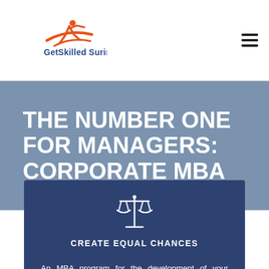[Figure (logo): GetSkilled Suriname logo: orange running figure with swoosh, blue text 'GetSkilled Suriname']
[Figure (other): Hamburger menu icon (three horizontal lines)]
THE NUMBER ONE FOR MANAGERS: CORPORATE MBA
[Figure (illustration): Balance/scales of justice icon in white]
CREATE EQUAL CHANCES
An MBA program for the development of your managers and the growth of your organization. We made the MBA affordable and available!